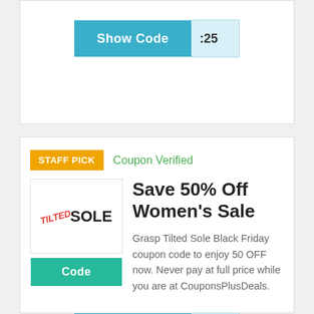[Figure (screenshot): Show Code button with partial code ':25' on light blue background]
STAFF PICK
Coupon Verified
[Figure (logo): Tilted Sole logo with red tilted text and black SOLE text]
Code
Save 50% Off Women's Sale
Grasp Tilted Sole Black Friday coupon code to enjoy 50 OFF now. Never pay at full price while you are at CouponsPlusDeals.
[Figure (screenshot): Show Code button with partial code ':50' on light blue background]